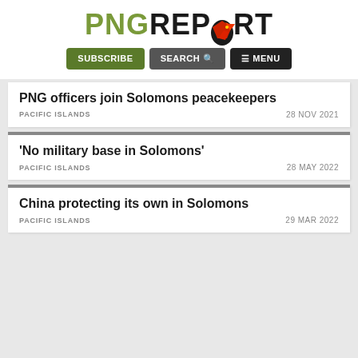[Figure (logo): PNG Report logo with olive green PNG text and black REPORT text with a red bird illustration replacing the O]
SUBSCRIBE   SEARCH   ≡ MENU
PNG officers join Solomons peacekeepers
PACIFIC ISLANDS   28 NOV 2021
'No military base in Solomons'
PACIFIC ISLANDS   28 MAY 2022
China protecting its own in Solomons
PACIFIC ISLANDS   29 MAR 2022